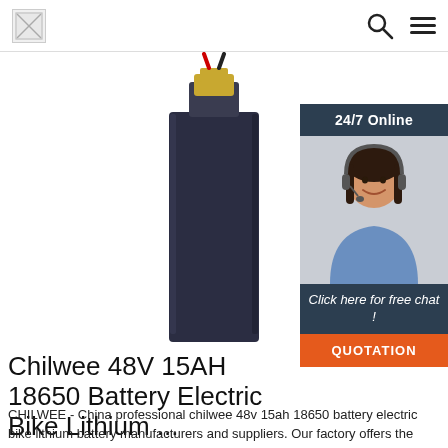Logo | Search | Menu
[Figure (photo): A dark navy/black rectangular lithium battery pack with red and black wires and a gold connector at the top, shown on a white background.]
[Figure (photo): Customer service representative: a woman with dark hair wearing a headset and blue shirt, smiling. Sidebar widget with '24/7 Online' header, 'Click here for free chat!' text, and orange QUOTATION button.]
Chilwee 48V 15AH 18650 Battery Electric Bike Lithium ...
CHILWEE - China professional chilwee 48v 15ah 18650 battery electric bike lithium battery manufacturers and suppliers. Our factory offers the best custom made batteries with competitive price for famous brands. Be free to wholesale or buy discount chilwee 48v 15ah 18650 battery electric bike lithium battery for sale here and get quotation from us.